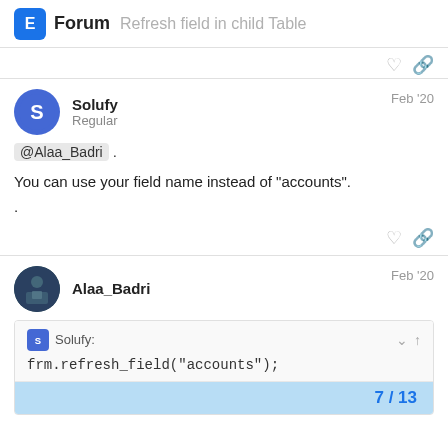Forum — Refresh field in child Table
@Alaa_Badri .
You can use your field name instead of "accounts".
Alaa_Badri  Feb '20
Solufy: frm.refresh_field("accounts");
7 / 13